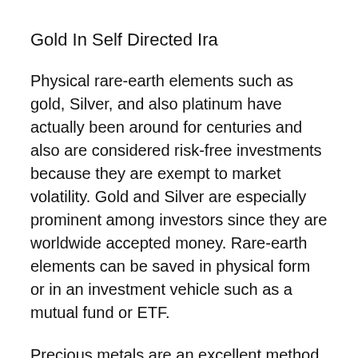Gold In Self Directed Ira
Physical rare-earth elements such as gold, Silver, and also platinum have actually been around for centuries and also are considered risk-free investments because they are exempt to market volatility. Gold and Silver are especially prominent among investors since they are worldwide accepted money. Rare-earth elements can be saved in physical form or in an investment vehicle such as a mutual fund or ETF.
Precious metals are an excellent method to invest in your retirement investment portfolio. They supply security and also a high degree of safety and security, that